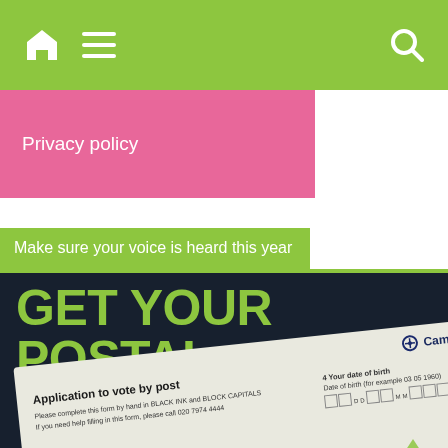Navigation bar with home, menu, and search icons
Privacy policy
Make sure your voice is heard this year
[Figure (photo): Dark navy background with large lime-green bold text reading 'GET YOUR POSTAL VOTE TODAY' overlaid on an image of a Camden Council postal vote application form being held by a hand. The form reads 'Application to vote by post' with Camden logo visible.]